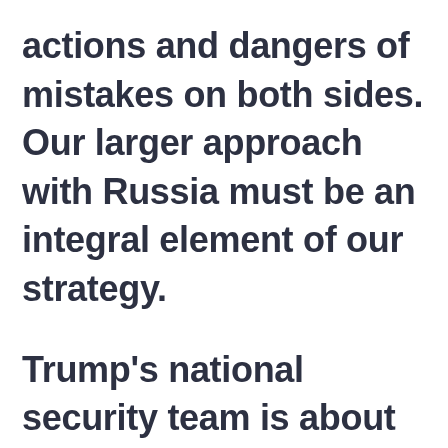actions and dangers of mistakes on both sides. Our larger approach with Russia must be an integral element of our strategy.

Trump's national security team is about the worst I have seen in 50 years.